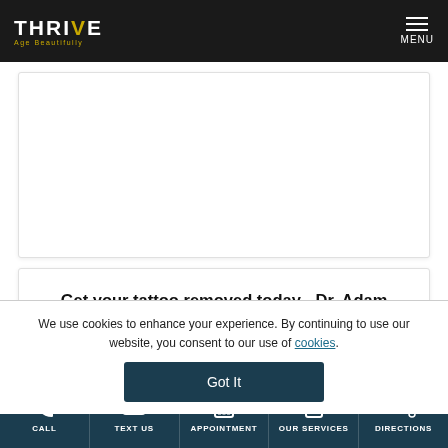THRIVE Age Beautifully — MENU
[Figure (other): Blank white card area (placeholder for embedded content)]
Get your tattoo removed today - Dr. Adam Maddox
We use cookies to enhance your experience. By continuing to use our website, you consent to our use of cookies.
Got It
CALL | TEXT US | APPOINTMENT | OUR SERVICES | DIRECTIONS